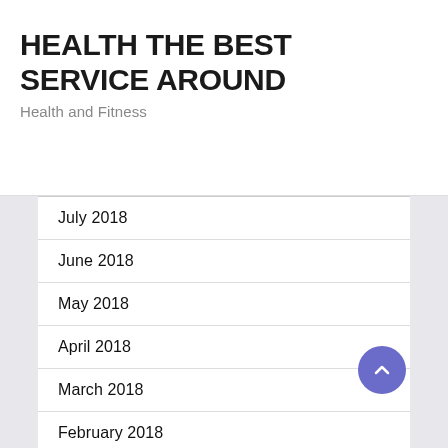HEALTH THE BEST SERVICE AROUND
Health and Fitness
July 2018
June 2018
May 2018
April 2018
March 2018
February 2018
January 2018